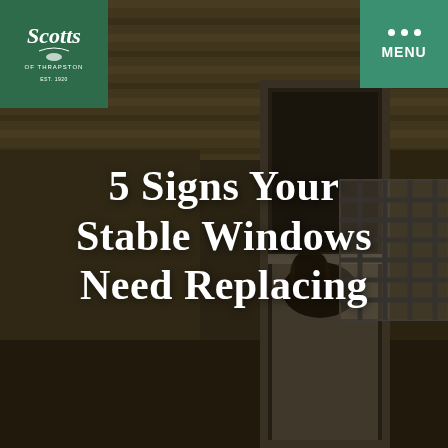[Figure (photo): Interior of a horse stable showing wooden ceiling planks, a half-door with a horse peeking through, and a barred window on the right wall. Dark, warm-toned image with an overlay.]
[Figure (logo): Scotts of Thrapston logo — white cursive text on green square background, Est. 1920]
5 Signs Your Stable Windows Need Replacing